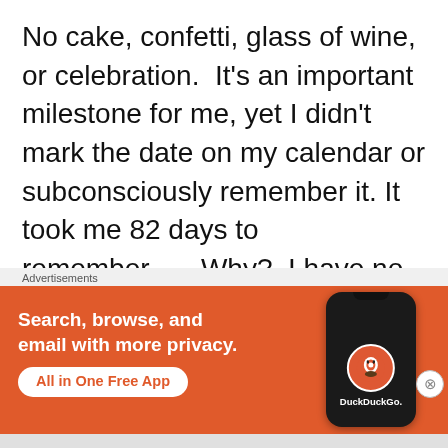No cake, confetti, glass of wine, or celebration.  It's an important milestone for me, yet I didn't mark the date on my calendar or subconsciously remember it. It took me 82 days to remember…   Why?  I have no idea.  I even checked to see if I posted on January 20th this year, but I didn't.  I saw an incomplete
Advertisements
[Figure (infographic): DuckDuckGo advertisement banner with orange background showing 'Search, browse, and email with more privacy. All in One Free App' text and a smartphone displaying the DuckDuckGo logo.]